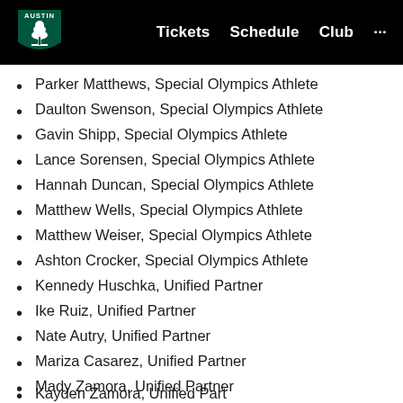Austin FC | Tickets  Schedule  Club  ...
Parker Matthews, Special Olympics Athlete
Daulton Swenson, Special Olympics Athlete
Gavin Shipp, Special Olympics Athlete
Lance Sorensen, Special Olympics Athlete
Hannah Duncan, Special Olympics Athlete
Matthew Wells, Special Olympics Athlete
Matthew Weiser, Special Olympics Athlete
Ashton Crocker, Special Olympics Athlete
Kennedy Huschka, Unified Partner
Ike Ruiz, Unified Partner
Nate Autry, Unified Partner
Mariza Casarez, Unified Partner
Mady Zamora, Unified Partner
Kayden Zamora, Unified Partner